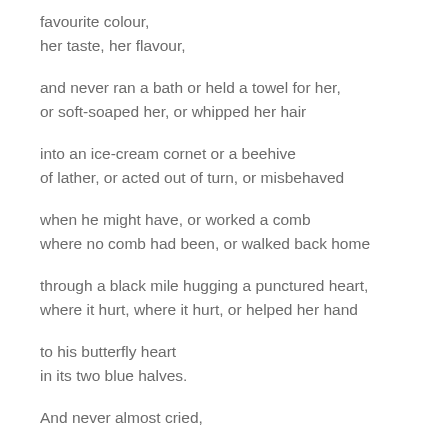favourite colour,
her taste, her flavour,
and never ran a bath or held a towel for her,
or soft-soaped her, or whipped her hair
into an ice-cream cornet or a beehive
of lather, or acted out of turn, or misbehaved
when he might have, or worked a comb
where no comb had been, or walked back home
through a black mile hugging a punctured heart,
where it hurt, where it hurt, or helped her hand
to his butterfly heart
in its two blue halves.
And never almost cried,